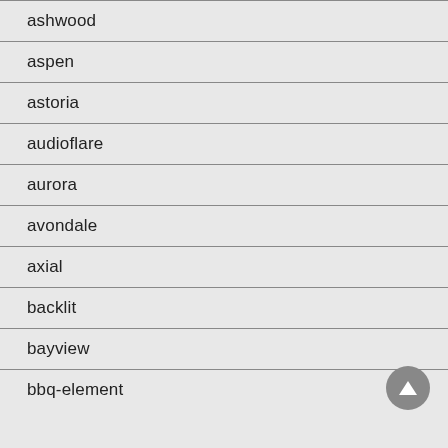ashwood
aspen
astoria
audioflare
aurora
avondale
axial
backlit
bayview
bbq-element